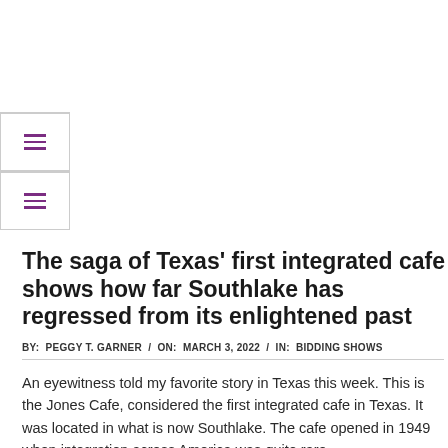☰ (navigation menu buttons)
The saga of Texas' first integrated cafe shows how far Southlake has regressed from its enlightened past
BY: PEGGY T. GARNER / ON: MARCH 3, 2022 / IN: BIDDING SHOWS
An eyewitness told my favorite story in Texas this week. This is the Jones Cafe, considered the first integrated cafe in Texas. It was located in what is now Southlake. The cafe opened in 1949 when integration across America was quite rare.
William Jones was a guest speaker at the Grapevine Historical Society. He is the son of the owners of the original cafe. This is how Jones told the story as an eyewitness to the courage of his…